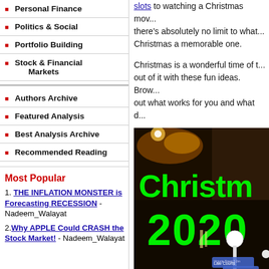Personal Finance
Politics & Social
Portfolio Building
Stock & Financial Markets
Authors Archive
Featured Analysis
Best Analysis Archive
Recommended Reading
Most Popular
1. THE INFLATION MONSTER is Forecasting RECESSION - Nadeem_Walayat
2. Why APPLE Could CRASH the Stock Market! - Nadeem_Walayat
to watching a Christmas movie, there's absolutely no limit to what makes Christmas a memorable one.
Christmas is a wonderful time of the year, get the most out of it with these fun ideas. Browse through and find out what works for you and what doesn't.
[Figure (photo): Christmas 2020 sign with green illuminated text against a dark nighttime background with street signs]